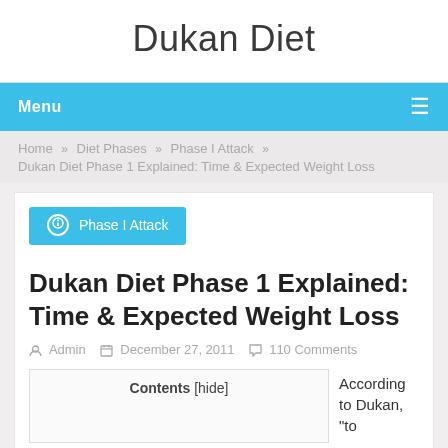Dukan Diet
Menu
Home » Diet Phases » Phase I Attack » Dukan Diet Phase 1 Explained: Time & Expected Weight Loss
Phase I Attack
Dukan Diet Phase 1 Explained: Time & Expected Weight Loss
Admin   December 27, 2011   110 Comments
Contents [hide]
According to Dukan, "to